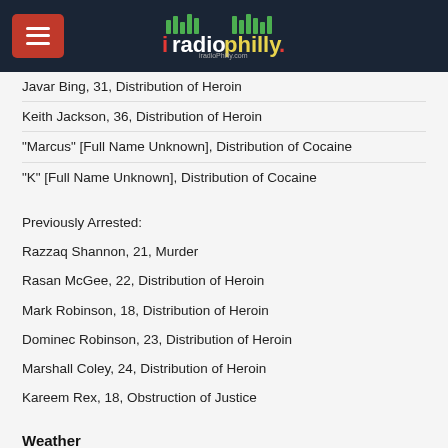iRadioPhilly
Javar Bing, 31, Distribution of Heroin
Keith Jackson, 36, Distribution of Heroin
"Marcus" [Full Name Unknown], Distribution of Cocaine
"K" [Full Name Unknown], Distribution of Cocaine
Previously Arrested:
Razzaq Shannon, 21, Murder
Rasan McGee, 22, Distribution of Heroin
Mark Robinson, 18, Distribution of Heroin
Dominec Robinson, 23, Distribution of Heroin
Marshall Coley, 24, Distribution of Heroin
Kareem Rex, 18, Obstruction of Justice
Weather
This evening, partly cloudy, temperatures in the mid 50's in Center City.